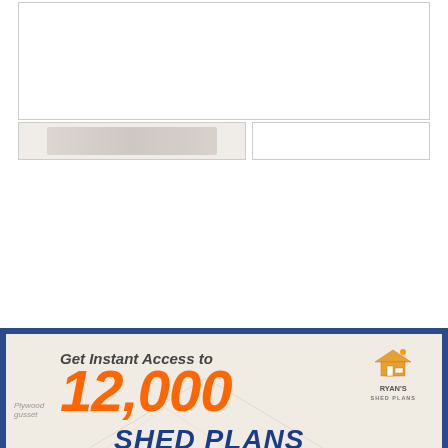[Figure (screenshot): Top white panel area with two sub-panels below - appears to be a document or webpage content area (mostly blank/white)]
[Figure (infographic): Advertisement banner for Ryan's Shed Plans on dark blue background. Text reads 'Get Instant Access to 12,000 SHED PLANS' with Ryan's Shed Plans logo. Shows three shed photos and a yellow download button. Green scroll-to-top arrow button in bottom right.]